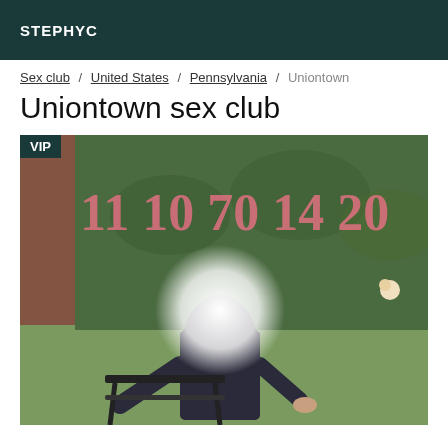STEPHYC
Sex club / United States / Pennsylvania / Uniontown
Uniontown sex club
[Figure (photo): Person posing outdoors near a metal chair with a bright flash obscuring their face, in front of a hedge with pink lettering. A VIP badge appears in the top-left corner of the image.]